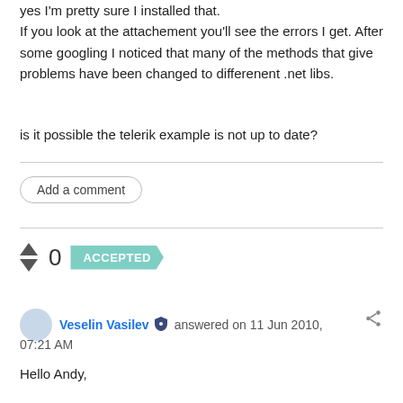yes I'm pretty sure I installed that.
If you look at the attachement you'll see the errors I get. After some googling I noticed that many of the methods that give problems have been changed to differenent .net libs.
is it possible the telerik example is not up to date?
Add a comment
0 ACCEPTED
Veselin Vasilev answered on 11 Jun 2010, 07:21 AM
Hello Andy,